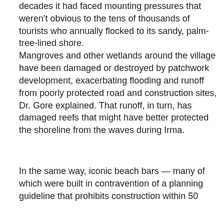decades it had faced mounting pressures that weren't obvious to the tens of thousands of tourists who annually flocked to its sandy, palm-tree-lined shore. Mangroves and other wetlands around the village have been damaged or destroyed by patchwork development, exacerbating flooding and runoff from poorly protected road and construction sites, Dr. Gore explained. That runoff, in turn, has damaged reefs that might have better protected the shoreline from the waves during Irma.
In the same way, iconic beach bars — many of which were built in contravention of a planning guideline that prohibits construction within 50